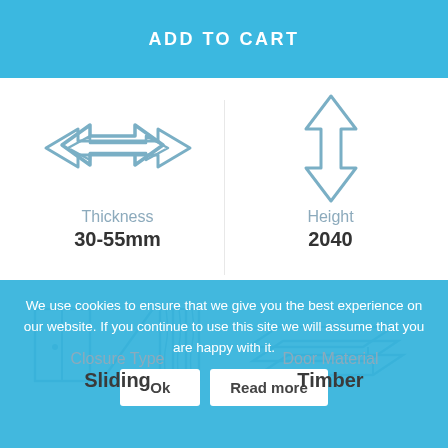ADD TO CART
[Figure (illustration): Double-headed horizontal arrow icon representing Thickness]
Thickness
30-55mm
[Figure (illustration): Double-headed vertical arrow icon representing Height]
Height
2040
[Figure (illustration): Sliding door and folding door icon representing Closure Type]
Closure Type
Sliding
[Figure (illustration): Stacked panels icon representing Door Material]
Door Material
Timber
We use cookies to ensure that we give you the best experience on our website. If you continue to use this site we will assume that you are happy with it.